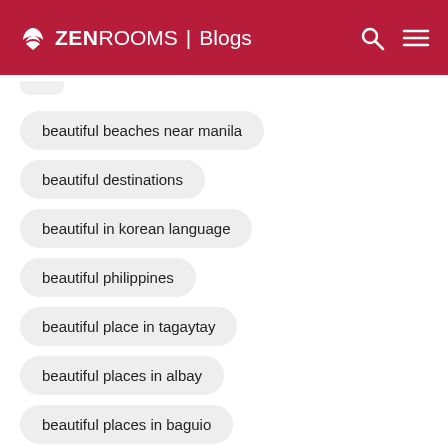ZEN ROOMS | Blogs
beautiful beaches near manila
beautiful destinations
beautiful in korean language
beautiful philippines
beautiful place in tagaytay
beautiful places in albay
beautiful places in baguio
beautiful places in bataan